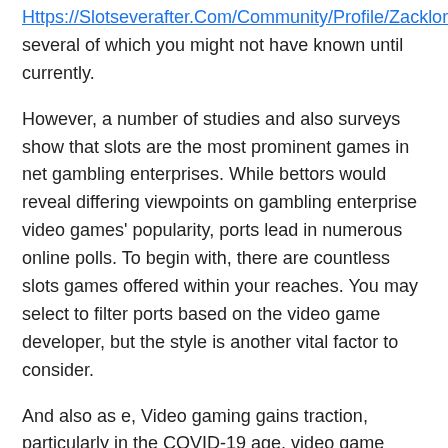Https://Slotseverafter.Com/Community/Profile/Zacklord764338/ several of which you might not have known until currently.
However, a number of studies and also surveys show that slots are the most prominent games in net gambling enterprises. While bettors would reveal differing viewpoints on gambling enterprise video games' popularity, ports lead in numerous online polls. To begin with, there are countless slots games offered within your reaches. You may select to filter ports based on the video game developer, but the style is another vital factor to consider.
And also as e, Video gaming gains traction, particularly in the COVID-19 age, video game developers are ruthless in releasing new slot device video games. Roulette, Keno, Https://Thefencefilm.Co.Uk/Community/Profile/Chunchauvel6600/ and Blackjack Are the Earliest Gambling enterprise Gaming Old gambling enterprise games are like gold.